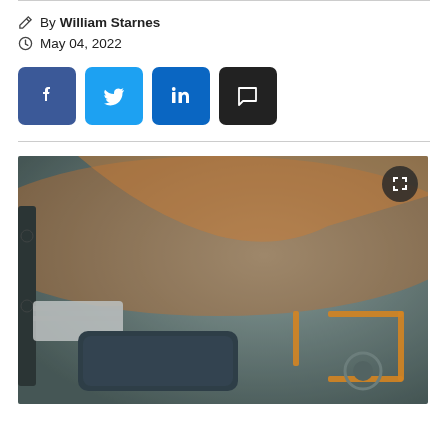By William Starnes
May 04, 2022
[Figure (other): Social share buttons: Facebook (blue), Twitter (light blue), LinkedIn (blue), Comment (black)]
[Figure (photo): Close-up photo of industrial or mechanical equipment with orange markings/trim, dark metallic components, taken in smoky or dusty environment]